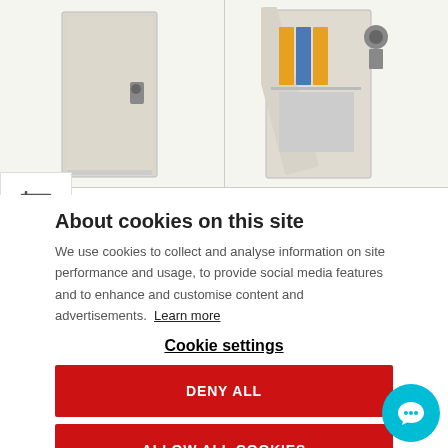[Figure (photo): Two security safes/cabinets on a light beige background. Left: a closed beige/grey tall safe. Right: an open safe showing interior with binders/folders and locking mechanism visible.]
About cookies on this site
We use cookies to collect and analyse information on site performance and usage, to provide social media features and to enhance and customise content and advertisements. Learn more
Cookie settings
DENY ALL
ALLOW ALL COOKIES